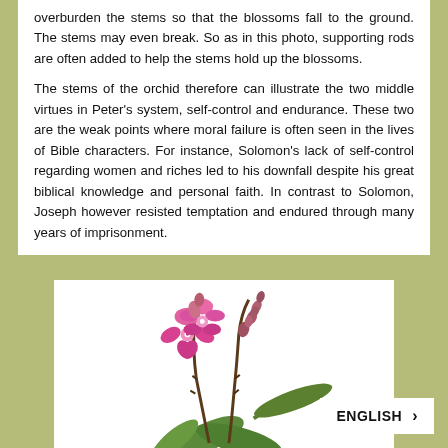overburden the stems so that the blossoms fall to the ground. The stems may even break. So as in this photo, supporting rods are often added to help the stems hold up the blossoms.
The stems of the orchid therefore can illustrate the two middle virtues in Peter's system, self-control and endurance. These two are the weak points where moral failure is often seen in the lives of Bible characters. For instance, Solomon's lack of self-control regarding women and riches led to his downfall despite his great biblical knowledge and personal faith. In contrast to Solomon, Joseph however resisted temptation and endured through many years of imprisonment.
[Figure (photo): Photo of a pink orchid plant with two stems, one with open pink blossoms and another with reddish buds, green leaves at the base, on a white background.]
ENGLISH ›